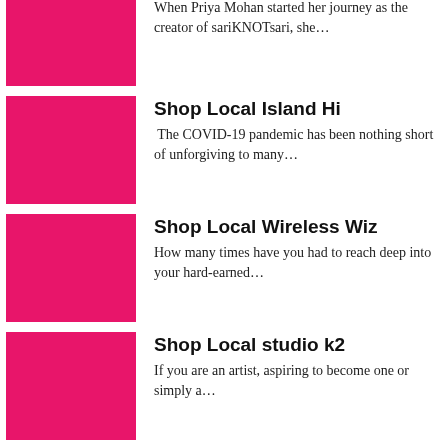When Priya Mohan started her journey as the creator of sariKNOTsari, she…
Shop Local Island Hi
The COVID-19 pandemic has been nothing short of unforgiving to many…
Shop Local Wireless Wiz
How many times have you had to reach deep into your hard-earned…
Shop Local studio k2
If you are an artist, aspiring to become one or simply a…
Shop Local The Spa On Wilson